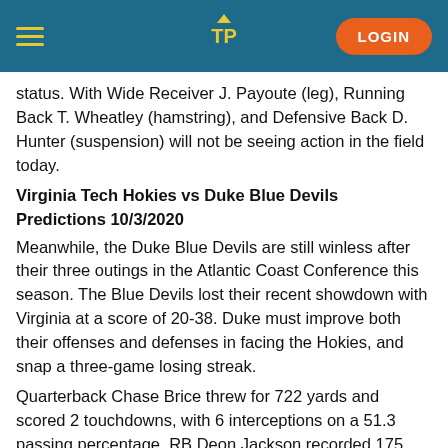TP [logo] LOGIN
status. With Wide Receiver J. Payoute (leg), Running Back T. Wheatley (hamstring), and Defensive Back D. Hunter (suspension) will not be seeing action in the field today.
Virginia Tech Hokies vs Duke Blue Devils Predictions 10/3/2020
Meanwhile, the Duke Blue Devils are still winless after their three outings in the Atlantic Coast Conference this season. The Blue Devils lost their recent showdown with Virginia at a score of 20-38. Duke must improve both their offenses and defenses in facing the Hokies, and snap a three-game losing streak.
Quarterback Chase Brice threw for 722 yards and scored 2 touchdowns, with 6 interceptions on a 51.3 passing percentage. RB Deon Jackson recorded 175 rushing yards in leading the offenses of the Blue Devils on the ground. WR Noah Gray contributed 13 receptions for 152 yards and a touchdown in leading Duke. Jalen Calhoun and Jake